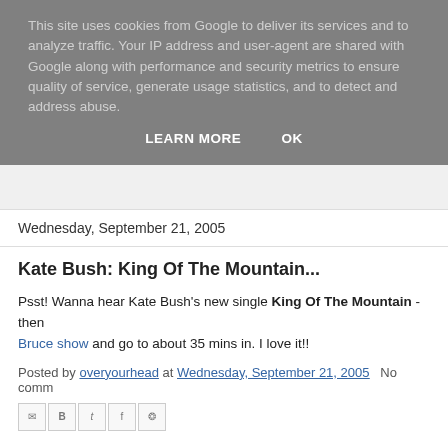This site uses cookies from Google to deliver its services and to analyze traffic. Your IP address and user-agent are shared with Google along with performance and security metrics to ensure quality of service, generate usage statistics, and to detect and address abuse.
LEARN MORE   OK
Wednesday, September 21, 2005
Kate Bush: King Of The Mountain...
Psst! Wanna hear Kate Bush's new single King Of The Mountain - then Bruce show and go to about 35 mins in. I love it!!
Posted by overyourhead at Wednesday, September 21, 2005   No comm...
Reissue; First things first...